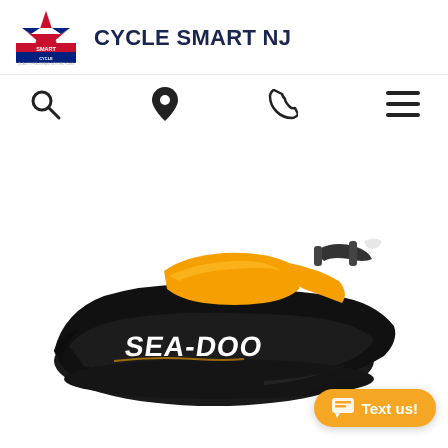[Figure (logo): Cycle Smart NJ logo — a star with red, white, and blue stripes, with 'CYCLE SMART' text and 'QUALITY PRE-OWNED MOTORCYCLES' tagline]
CYCLE SMART NJ
[Figure (infographic): Navigation icon bar with search magnifying glass, location pin, phone, and hamburger menu icons]
[Figure (photo): Sea-Doo personal watercraft / jet ski in black and orange colorway, photographed from a 3/4 front-left angle on a white background. The Sea-Doo logo is visible on the hull.]
Text us!